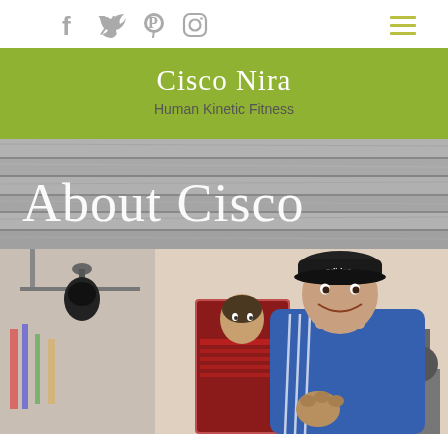Social icons: Facebook, Twitter, Pinterest, Instagram; Menu icon
Cisco Nira
Human Kinetic Fitness
About Cisco
[Figure (photo): Man in blue Adidas jacket and black cap smiling in a gym, holding a Rocky movie collectible box. Speed bag visible on left, gym equipment in background.]